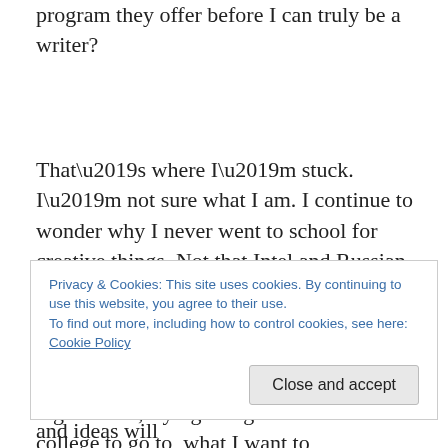program they offer before I can truly be a writer?
That’s where I’m stuck. I’m not sure what I am. I continue to wonder why I never went to school for creative things. Not that Intel and Russian aren’t “creative” so to say. K Dubs always said Intel was art. And perhaps it was what I wanted. And now… I feel like I’m back in high school, trying to figure out which college to go to, what I want to
a possibility down the road. My opinions and ideas will
Privacy & Cookies: This site uses cookies. By continuing to use this website, you agree to their use.
To find out more, including how to control cookies, see here: Cookie Policy
Close and accept